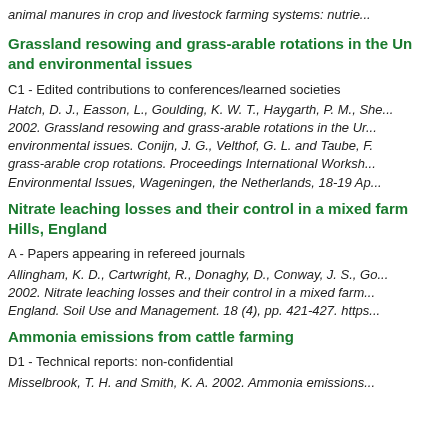animal manures in crop and livestock farming systems: nutrie...
Grassland resowing and grass-arable rotations in the UK and environmental issues
C1 - Edited contributions to conferences/learned societies
Hatch, D. J., Easson, L., Goulding, K. W. T., Haygarth, P. M., She... 2002. Grassland resowing and grass-arable rotations in the UK environmental issues. Conijn, J. G., Velthof, G. L. and Taube, F. grass-arable crop rotations. Proceedings International Workshop Environmental Issues, Wageningen, the Netherlands, 18-19 Ap...
Nitrate leaching losses and their control in a mixed farm Hills, England
A - Papers appearing in refereed journals
Allingham, K. D., Cartwright, R., Donaghy, D., Conway, J. S., Go... 2002. Nitrate leaching losses and their control in a mixed farm England. Soil Use and Management. 18 (4), pp. 421-427. https...
Ammonia emissions from cattle farming
D1 - Technical reports: non-confidential
Misselbrook, T. H. and Smith, K. A. 2002. Ammonia emissions...